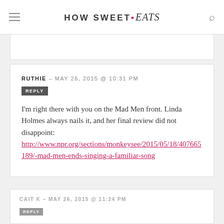HOW SWEET • eats
RUTHIE — MAY 26, 2015 @ 10:31 PM
I'm right there with you on the Mad Men front. Linda Holmes always nails it, and her final review did not disappoint: http://www.npr.org/sections/monkeysee/2015/05/18/407665189/-mad-men-ends-singing-a-familiar-song
CAIT K — MAY 26, 2015 @ 11:24 PM